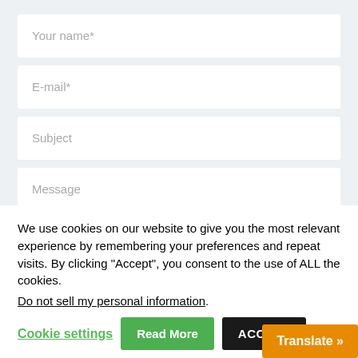[Figure (screenshot): Web contact form with fields: Your name*, E-mail*, Subject, Message on a light grey background]
We use cookies on our website to give you the most relevant experience by remembering your preferences and repeat visits. By clicking “Accept”, you consent to the use of ALL the cookies.
Do not sell my personal information.
Cookie settings  Read More  ACCEPT  Translate »